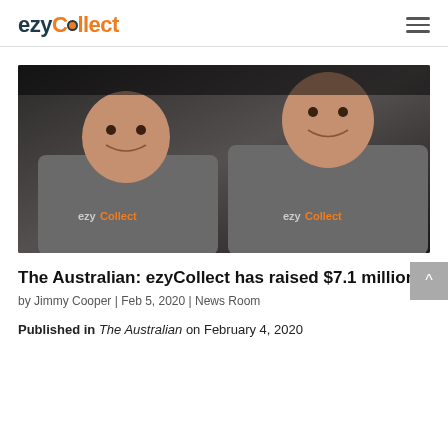ezyCollect
[Figure (photo): Two men wearing ezyCollect branded grey t-shirts, smiling, in a dark indoor setting.]
The Australian: ezyCollect has raised $7.1 million
by Jimmy Cooper | Feb 5, 2020 | News Room
Published in The Australian on February 4, 2020